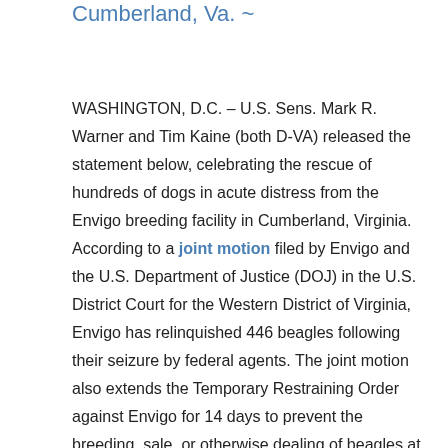Cumberland, Va. ~
WASHINGTON, D.C. – U.S. Sens. Mark R. Warner and Tim Kaine (both D-VA) released the statement below, celebrating the rescue of hundreds of dogs in acute distress from the Envigo breeding facility in Cumberland, Virginia. According to a joint motion filed by Envigo and the U.S. Department of Justice (DOJ) in the U.S. District Court for the Western District of Virginia, Envigo has relinquished 446 beagles following their seizure by federal agents. The joint motion also extends the Temporary Restraining Order against Envigo for 14 days to prevent the breeding, sale, or otherwise dealing of beagles at